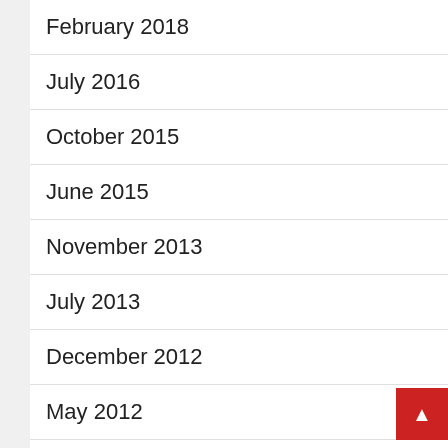February 2018
July 2016
October 2015
June 2015
November 2013
July 2013
December 2012
May 2012
December 2011
November 2011